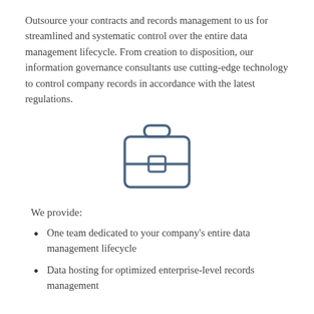Outsource your contracts and records management to us for streamlined and systematic control over the entire data management lifecycle. From creation to disposition, our information governance consultants use cutting-edge technology to control company records in accordance with the latest regulations.
[Figure (illustration): A line-art briefcase icon with a handle on top and a small square clasp in the center, drawn in dark blue/slate color.]
We provide:
One team dedicated to your company's entire data management lifecycle
Data hosting for optimized enterprise-level records management